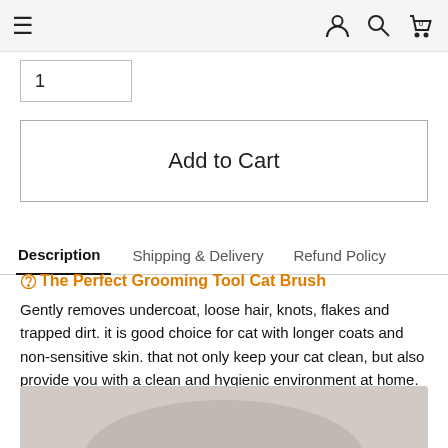≡  [user icon] [search icon] [cart: 0]
1
Add to Cart
Description  |  Shipping & Delivery  |  Refund Policy
The Perfect Grooming Tool Cat Brush
Gently removes undercoat, loose hair, knots, flakes and trapped dirt. it is good choice for cat with longer coats and non-sensitive skin. that not only keep your cat clean, but also provide you with a clean and hygienic environment at home.
[Figure (photo): Product image showing a cat grooming brush on a light beige/gray background]